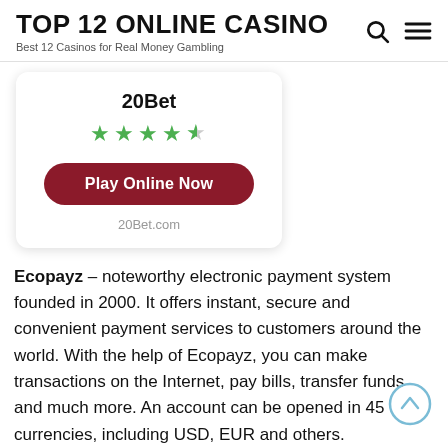TOP 12 ONLINE CASINO
Best 12 Casinos for Real Money Gambling
[Figure (infographic): Casino card for 20Bet showing 4.5 star rating and a dark red 'Play Online Now' button, with 20Bet.com URL below]
Ecopayz – noteworthy electronic payment system founded in 2000. It offers instant, secure and convenient payment services to customers around the world. With the help of Ecopayz, you can make transactions on the Internet, pay bills, transfer funds and much more. An account can be opened in 45 currencies, including USD, EUR and others.
[Figure (other): Scroll-to-top circular arrow button in light blue outline style]